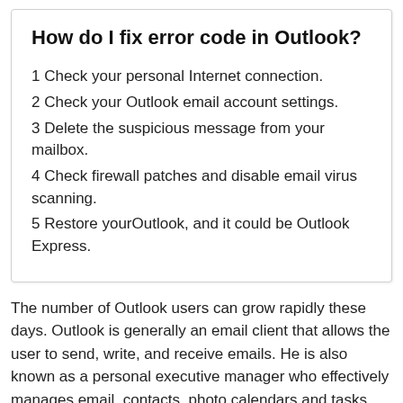How do I fix error code in Outlook?
1 Check your personal Internet connection.
2 Check your Outlook email account settings.
3 Delete the suspicious message from your mailbox.
4 Check firewall patches and disable email virus scanning.
5 Restore yourOutlook, and it could be Outlook Express.
The number of Outlook users can grow rapidly these days. Outlook is generally an email client that allows the user to send, write, and receive emails. He is also known as a personal executive manager who effectively manages email, contacts, photo calendars and tasks. However, most users experience problems when working with Outlook. The problem that occurs when sending a call is the hardest part, i.e. send error 0x80042109 in settings 2007 2010, 2013,